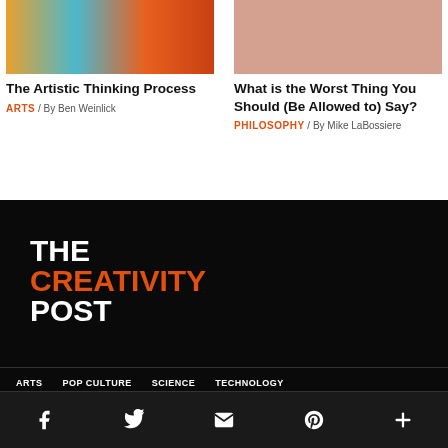[Figure (photo): Colorful vertical paint stripes – orange, teal, orange tones]
The Artistic Thinking Process
ARTS / By Ben Weinlick
[Figure (photo): Close-up of a person's face/ear area, skin tones]
What is the Worst Thing You Should (Be Allowed to) Say?
PHILOSOPHY / By Mike LaBossiere
[Figure (logo): The Creativity Post logo in white and orange on black background]
ARTS   POP CULTURE   SCIENCE   TECHNOLOGY
Social icons: Facebook, Twitter, Email, Pinterest, More